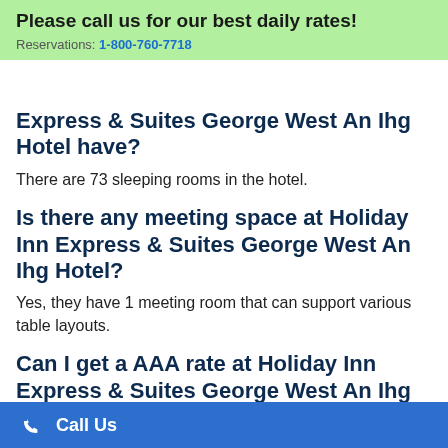Please call us for our best daily rates! Reservations: 1-800-760-7718
Express & Suites George West An Ihg Hotel have?
There are 73 sleeping rooms in the hotel.
Is there any meeting space at Holiday Inn Express & Suites George West An Ihg Hotel?
Yes, they have 1 meeting room that can support various table layouts.
Can I get a AAA rate at Holiday Inn Express & Suites George West An Ihg Hotel?
Sorry, this hotel does not offer AAA hotel discounts at this time.
Can I get a Senior or AARP rate at Holiday Inn Express & Suites George West An Ihg Hotel?
Call Us